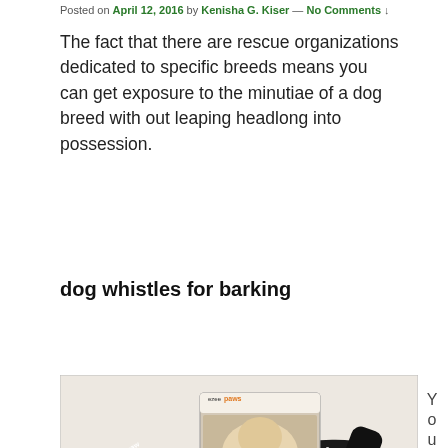Posted on April 12, 2016 by Kenisha G. Kiser — No Comments ↓
The fact that there are rescue organizations dedicated to specific breeds means you can get exposure to the minutiae of a dog breed with out leaping headlong into possession.
dog whistles for barking
[Figure (photo): Photo of an ezeepaws branded dog whistle on a black lanyard, with a small booklet showing 'ULTRASONIC WHISTLE TRAINING GUIDE RECALL TRAINING' and a Labrador dog image on the cover.]
Y
o
u
r
d
o
g
d
e
s